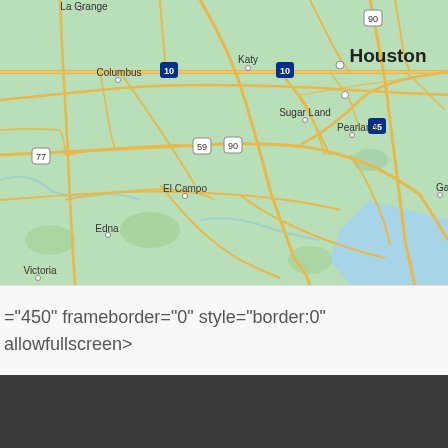[Figure (map): Google Maps view of the Houston, Texas area showing cities including Houston, Katy, Sugar Land, Pearland, Galveston, Columbus, El Campo, Edna, La Grange, and Victoria. Interstate highways 10, 90, 59, 77, and 45 are labeled. Roads are shown in yellow/orange on a green background.]
="450" frameborder="0" style="border:0"
allowfullscreen>